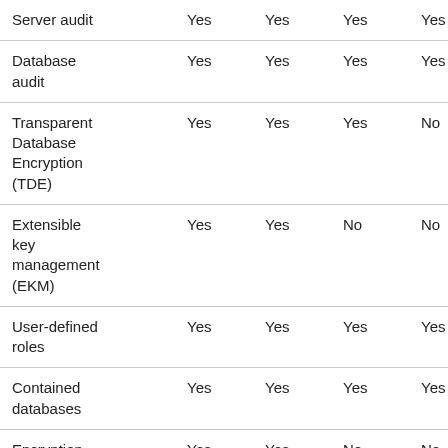| Server audit | Yes | Yes | Yes | Yes | Y |
| Database audit | Yes | Yes | Yes | Yes | Y |
| Transparent Database Encryption (TDE) | Yes | Yes | Yes | No | N |
| Extensible key management (EKM) | Yes | Yes | No | No | N |
| User-defined roles | Yes | Yes | Yes | Yes | Y |
| Contained databases | Yes | Yes | Yes | Yes | Y |
| Encryption | Yes | Yes | No | No | N |